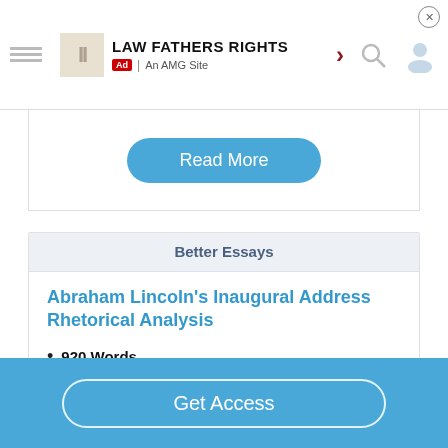[Figure (screenshot): Ad banner for 'LAW FATHERS RIGHTS - An AMG Site' with logo, arrow, search and person icons, and close button]
[Figure (screenshot): Blue rounded 'Read More' button on white card area]
Better Essays
Abraham Lincoln's Inaugural Address Rhetorical Analysis
920 Words
4 Pages
After the battle of Antientam Lincoln wanted slaves to be empacipated, so he created a program in which they would
[Figure (screenshot): Blue 'Get Access' button bar at bottom of page]